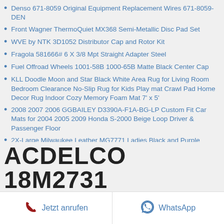Denso 671-8059 Original Equipment Replacement Wires 671-8059-DEN
Front Wagner ThermoQuiet MX368 Semi-Metallic Disc Pad Set
WVE by NTK 3D1052 Distributor Cap and Rotor Kit
Fragola 581666# 6 X 3/8 Mpt Straight Adapter Steel
Fuel Offroad Wheels 1001-58B 1000-65B Matte Black Center Cap
KLL Doodle Moon and Star Black White Area Rug for Living Room Bedroom Clearance No-Slip Rug for Kids Play mat Crawl Pad Home Decor Rug Indoor Cozy Memory Foam Mat 7' x 5'
2008 2007 2006 GGBAILEY D3390A-F1A-BG-LP Custom Fit Car Mats for 2004 2005 2009 Honda S-2000 Beige Loop Driver & Passenger Floor
2X-Large Milwaukee Leather MG7771 Ladies Black and Purple Leather Gloves with Gel Palms and Purple Laces
ACDELCO 18M2731
Jetzt anrufen | WhatsApp